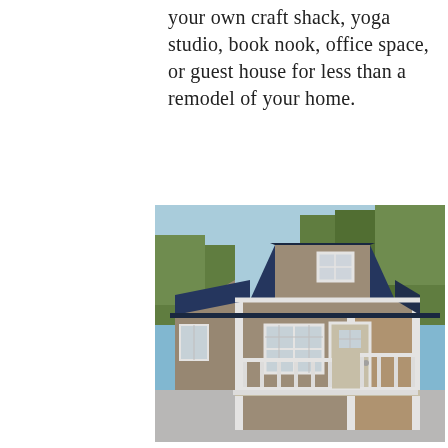your own craft shack, yoga studio, book nook, office space, or guest house for less than a remodel of your home.
[Figure (photo): A prefab shed/cabin structure with a gambrel (barn-style) roof covered in dark navy blue metal roofing. The exterior walls are tan/beige siding with white trim. The front features a covered porch with white railings, a single door with a small window, and a larger multi-pane window. A small upper loft window is visible on the upper front gable. The structure is set on a concrete surface with green trees visible in the background. The photo is slightly blurry/soft.]